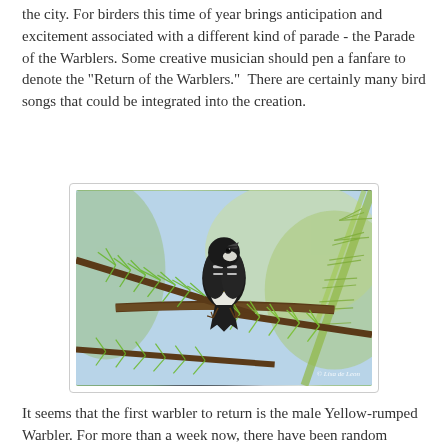the city. For birders this time of year brings anticipation and excitement associated with a different kind of parade - the Parade of the Warblers. Some creative musician should pen a fanfare to denote the "Return of the Warblers." There are certainly many bird songs that could be integrated into the creation.
[Figure (photo): A male Yellow-rumped Warbler perched on green conifer branches, showing black and white plumage with yellow patch. Photo credit: © Lisa de Leon]
It seems that the first warbler to return is the male Yellow-rumped Warbler. For more than a week now, there have been random sightings around the city and surely around the province. In the last few days the numbers are increasing and their song and color is beginning the fill the woods.